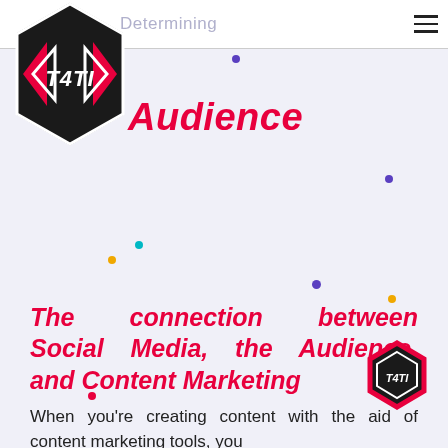Determining
[Figure (logo): T4TI hexagonal logo in red and black with white lettering]
Audience
The connection between Social Media, the Audience, and Content Marketing
When you're creating content with the aid of content marketing tools, you
[Figure (logo): Small T4TI hexagonal logo, red and black]